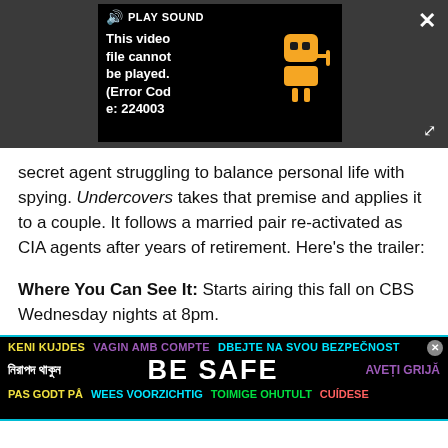[Figure (screenshot): Video player showing error: 'This video file cannot be played. (Error Code: 224003)' with a yellow video/plug icon, PLAY SOUND label, close button (X), and expand icon.]
secret agent struggling to balance personal life with spying. Undercovers takes that premise and applies it to a couple. It follows a married pair re-activated as CIA agents after years of retirement. Here's the trailer:
Where You Can See It: Starts airing this fall on CBS Wednesday nights at 8pm.
[Figure (infographic): Safety advertisement banner with multilingual 'BE SAFE' text in various colors on black background with teal border. Languages include Albanian (KENI KUJDES), Catalan (VAGIN AMB COMPTE), Czech (DBEJTE NA SVOU BEZPECNOST), Bengali, Dutch (WEES VOORZICHTIG), Danish (PAS GODT PA), Estonian (TOIMIGE OHUTULT), Portuguese (CUIDESE), Romanian (AVETI GRIJA).]